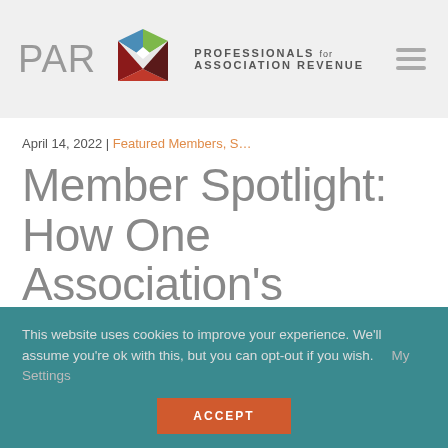[Figure (logo): PAR – Professionals for Association Revenue logo with diamond geometric icon]
April 14, 2022 | Featured Members, S…
Member Spotlight: How One Association's Strategic Plan Erased
This website uses cookies to improve your experience. We'll assume you're ok with this, but you can opt-out if you wish.    My Settings